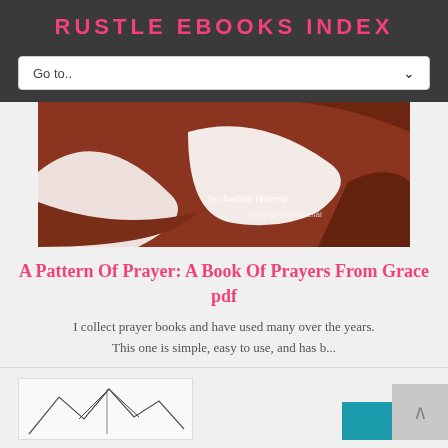RUSTLE EBOOKS INDEX
Go to..
[Figure (illustration): Book cover for 'A Pattern Of Prayer: A Book Of Prayers From Grace' showing abstract brown and white shapes with text 'by Joshua Hearne' and 'Copyrighted Material']
A Pattern Of Prayer: A Book Of Prayers From Grace pdf
I collect prayer books and have used many over the years. This one is simple, easy to use, and has b...
[Figure (illustration): Partial view of a second book cover showing a pencil sketch of tents/mountains and a teal/blue rectangle block]